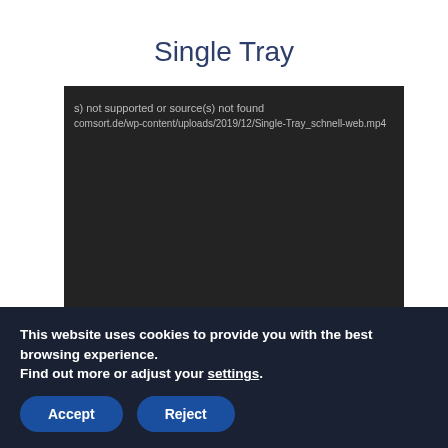Single Tray
[Figure (screenshot): Video player with dark background showing error message: 's) not supported or source(s) not found' and URL path 'comsort.de/wp-content/uploads/2019/12/Single-Tray_schnell-web.mp4']
This website uses cookies to provide you with the best browsing experience.
Find out more or adjust your settings.
Accept
Reject